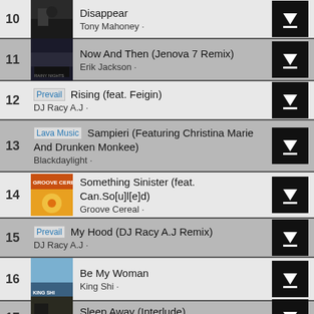10 Disappear · Tony Mahoney
11 Now And Then (Jenova 7 Remix) · Erik Jackson
12 Rising (feat. Feigin) · DJ Racy A.J
13 Sampieri (Featuring Christina Marie And Drunken Monkee) · Blackdaylight
14 Something Sinister (feat. Can.So[u]l[e]d) · Groove Cereal
15 My Hood (DJ Racy A.J Remix) · DJ Racy A.J
16 Be My Woman · King Shi
17 Sleep Away (Interlude) · Fredo